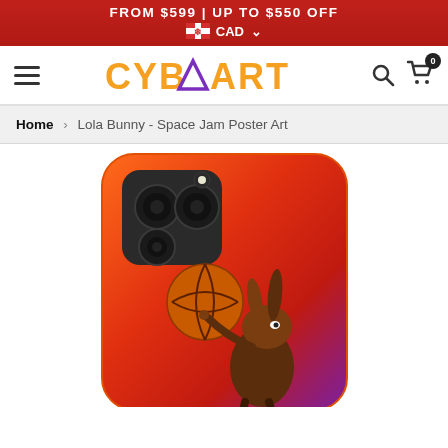FROM $599 | UP TO $550 OFF — CAD
[Figure (logo): CYBEART logo in orange with purple triangle, hamburger menu icon on left, search and cart icons on right with badge showing 0]
Home > Lola Bunny - Space Jam Poster Art
[Figure (photo): iPhone case with Lola Bunny Space Jam Poster Art design — orange-red gradient background with Lola Bunny spinning a basketball]